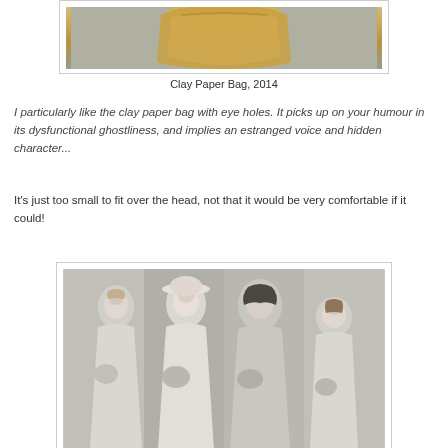[Figure (photo): A clay paper bag sculpture photographed against a gray background, showing orange/yellow clay formed into a paper bag shape.]
Clay Paper Bag, 2014
I particularly like the clay paper bag with eye holes. It picks up on your humour in its dysfunctional ghostliness, and implies an estranged voice and hidden character...
It's just too small to fit over the head, not that it would be very comfortable if it could!
[Figure (photo): A pencil drawing or painting of four women dressed in wedding attire holding bouquets, rendered in grayscale/charcoal style.]